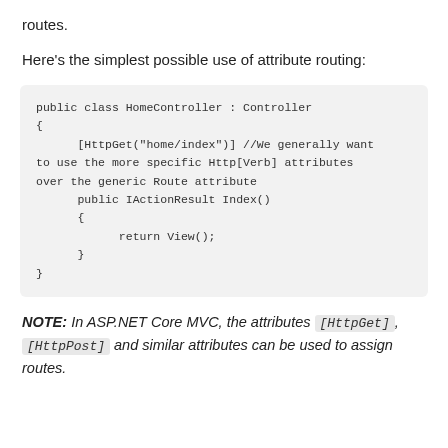routes.
Here's the simplest possible use of attribute routing:
public class HomeController : Controller
{
      [HttpGet("home/index")] //We generally want to use the more specific Http[Verb] attributes over the generic Route attribute
      public IActionResult Index()
      {
            return View();
      }
}
NOTE: In ASP.NET Core MVC, the attributes [HttpGet], [HttpPost] and similar attributes can be used to assign routes.